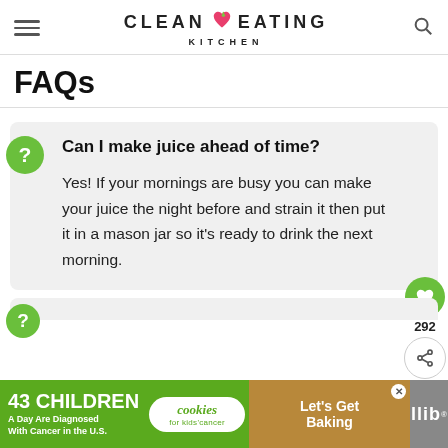CLEAN EATING KITCHEN
FAQs
Can I make juice ahead of time?
Yes! If your mornings are busy you can make your juice the night before and strain it then put it in a mason jar so it's ready to drink the next morning.
[Figure (screenshot): Advertisement banner: '43 CHILDREN A Day Are Diagnosed With Cancer in the U.S.' with cookies for kids' cancer logo and 'Let's Get Baking' text on brown background]